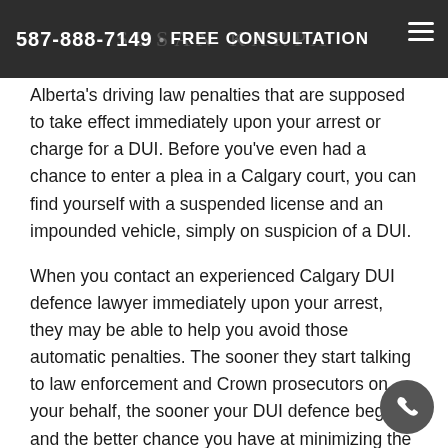587-888-7149 • FREE CONSULTATION
Alberta's driving law penalties that are supposed to take effect immediately upon your arrest or charge for a DUI. Before you've even had a chance to enter a plea in a Calgary court, you can find yourself with a suspended license and an impounded vehicle, simply on suspicion of a DUI.
When you contact an experienced Calgary DUI defence lawyer immediately upon your arrest, they may be able to help you avoid those automatic penalties. The sooner they start talking to law enforcement and Crown prosecutors on your behalf, the sooner your DUI defence begins and the better chance you have at minimizing the disruption to your life.
An Experienced Calgary Lawyer Provides a DUI Defence Roadmap